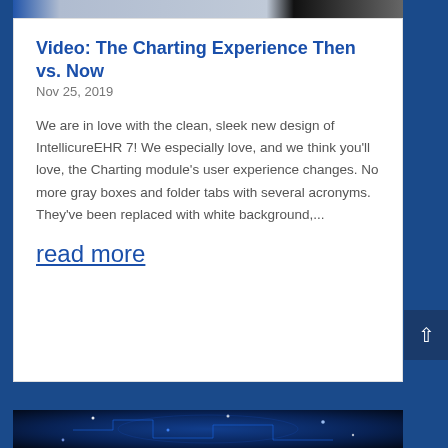[Figure (screenshot): Top strip showing a software interface screenshot in dark gray background]
Video: The Charting Experience Then vs. Now
Nov 25, 2019
We are in love with the clean, sleek new design of IntellicureEHR 7! We especially love, and we think you'll love, the Charting module's user experience changes. No more gray boxes and folder tabs with several acronyms. They've been replaced with white background,...
read more
[Figure (illustration): Digital brain circuit board illustration with blue glowing neural network pattern on dark background]